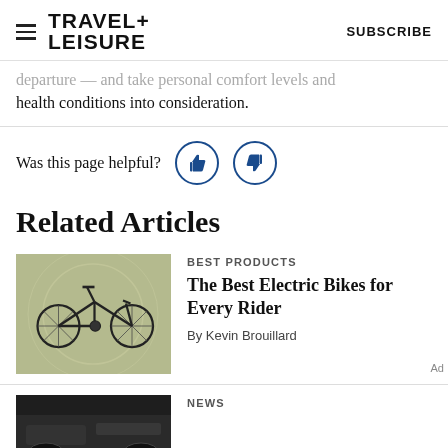TRAVEL+ LEISURE  SUBSCRIBE
departure — and take personal comfort levels and health conditions into consideration.
Was this page helpful?
Related Articles
[Figure (photo): Electric bicycle on a sage green background]
BEST PRODUCTS
The Best Electric Bikes for Every Rider
By Kevin Brouillard
NEWS
[Figure (photo): Dark colored car, partial view]